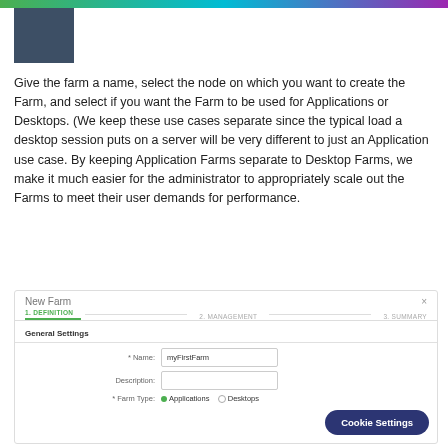[Figure (logo): Dark blue-gray square logo block in top left corner with a rainbow gradient bar at the top of the page]
Give the farm a name, select the node on which you want to create the Farm, and select if you want the Farm to be used for Applications or Desktops. (We keep these use cases separate since the typical load a desktop session puts on a server will be very different to just an Application use case. By keeping Application Farms separate to Desktop Farms, we make it much easier for the administrator to appropriately scale out the Farms to meet their user demands for performance.
[Figure (screenshot): Screenshot of a 'New Farm' dialog with tabs: 1. DEFINITION (active, green), 2. MANAGEMENT, 3. SUMMARY. Shows General Settings section with Name field filled 'myFirstFarm', Description field, and Farm Type with Applications and Desktops radio buttons. A 'Cookie Settings' dark blue pill button overlays the bottom right.]